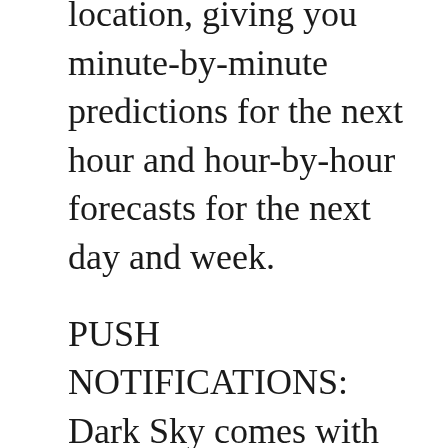location, giving you minute-by-minute predictions for the next hour and hour-by-hour forecasts for the next day and week.
PUSH NOTIFICATIONS: Dark Sky comes with advanced notification options: Receive down-to-the-minute alerts before it starts raining at your exact location, get notified of governmen> t severe weather alerts (for such things as thunderstorms, flooding, hurricanes, etc), or even create your own custom notifications